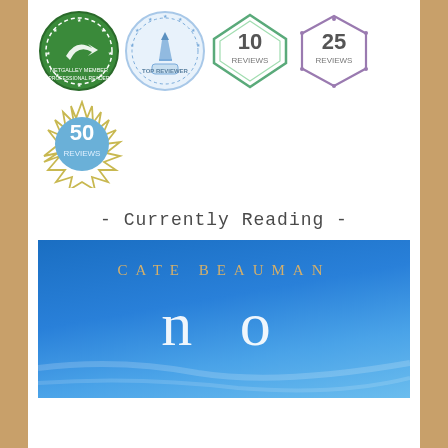[Figure (logo): NetGalley Member Professional Reader badge - circular green badge with arrow symbol]
[Figure (logo): Top Reviewer badge - circular blue badge with pen/quill icon and stars]
[Figure (logo): 10 Reviews badge - diamond shape green/teal border]
[Figure (logo): 25 Reviews badge - hexagon shape purple border]
[Figure (logo): 50 Reviews badge - starburst/sun shape gold border with blue circle center]
- Currently Reading -
[Figure (photo): Book cover: CATE BEAUMAN - 'no' on blue sky background with wispy clouds]